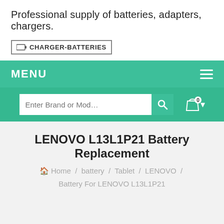Professional supply of batteries, adapters, chargers.
[Figure (logo): CHARGER-BATTERIES logo with a small battery icon in a bordered box]
MENU
[Figure (screenshot): Search bar with placeholder 'Enter Brand or Mod...' and a magnifying glass icon, alongside a shopping cart icon with badge showing 0]
LENOVO L13L1P21 Battery Replacement
Home / battery / Tablet / LENOVO / Battery For LENOVO L13L1P21